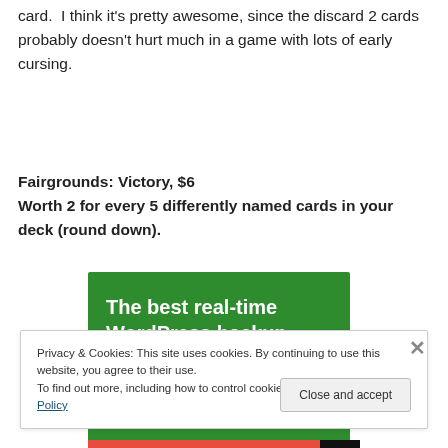card.  I think it's pretty awesome, since the discard 2 cards probably doesn't hurt much in a game with lots of early cursing.
Fairgrounds: Victory, $6
Worth 2 for every 5 differently named cards in your deck (round down).
[Figure (other): Green advertisement banner reading 'The best real-time WordPress backup plugin']
Privacy & Cookies: This site uses cookies. By continuing to use this website, you agree to their use.
To find out more, including how to control cookies, see here: Cookie Policy